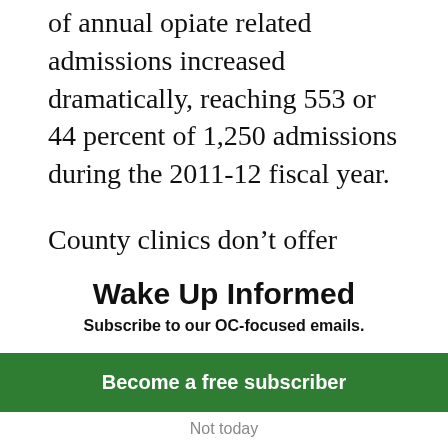of annual opiate related admissions increased dramatically, reaching 553 or 44 percent of 1,250 admissions during the 2011-12 fiscal year.
County clinics don’t offer Vivitrol now, O’Brien said, and there is only a minimal methadone program, under which the HCA pays $300,000 to two private clinics in Fullerton and Stanton.
County coroner’s records indicate that
Wake Up Informed
Subscribe to our OC-focused emails.
Become a free subscriber
Not today